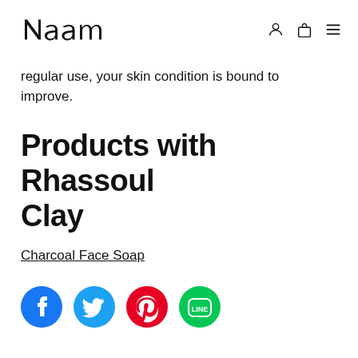Naam [logo] [user icon] [bag icon] [menu icon]
regular use, your skin condition is bound to improve.
Products with Rhassoul Clay
Charcoal Face Soap
[Figure (infographic): Row of four social media icons: Facebook (blue circle with f), Twitter (blue circle with bird), Pinterest (red circle with P), Line (green circle with LINE chat bubble)]